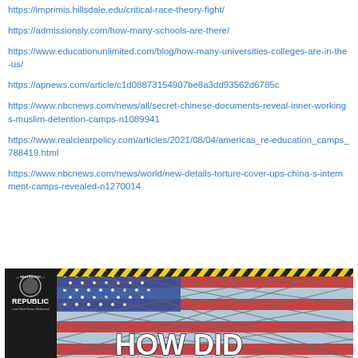https://imprimis.hillsdale.edu/critical-race-theory-fight/
https://admissionsly.com/how-many-schools-are-there/
https://www.educationunlimited.com/blog/how-many-universities-colleges-are-in-the-us/
https://apnews.com/article/c1d08873154907be8a3dd93562d6785c
https://www.nbcnews.com/news/all/secret-chinese-documents-reveal-inner-workings-muslim-detention-camps-n1089941
https://www.realclearpolicy.com/articles/2021/08/04/americas_re-education_camps_788419.html
https://www.nbcnews.com/news/world/new-details-torture-cover-ups-china-s-internment-camps-revealed-n1270014
[Figure (screenshot): Screenshot of Restricted Republic website with 'HOW DID' visible text, showing an American flag behind a chain-link fence with yellow and black hazard stripes border]